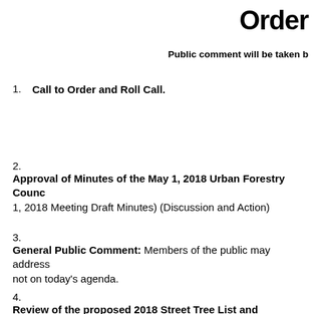Order
Public comment will be taken b
Call to Order and Roll Call.
Approval of Minutes of the May 1, 2018 Urban Forestry Counc 1, 2018 Meeting Draft Minutes) (Discussion and Action)
General Public Comment: Members of the public may address not on today's agenda.
Review of the proposed 2018 Street Tree List and recommend